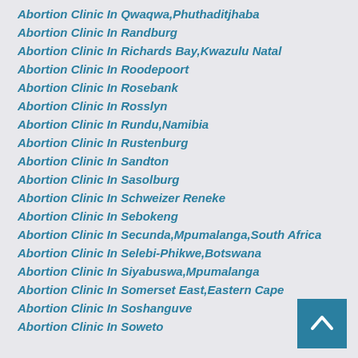Abortion Clinic In Qwaqwa,Phuthaditjhaba
Abortion Clinic In Randburg
Abortion Clinic In Richards Bay,Kwazulu Natal
Abortion Clinic In Roodepoort
Abortion Clinic In Rosebank
Abortion Clinic In Rosslyn
Abortion Clinic In Rundu,Namibia
Abortion Clinic In Rustenburg
Abortion Clinic In Sandton
Abortion Clinic In Sasolburg
Abortion Clinic In Schweizer Reneke
Abortion Clinic In Sebokeng
Abortion Clinic In Secunda,Mpumalanga,South Africa
Abortion Clinic In Selebi-Phikwe,Botswana
Abortion Clinic In Siyabuswa,Mpumalanga
Abortion Clinic In Somerset East,Eastern Cape
Abortion Clinic In Soshanguve
Abortion Clinic In Soweto